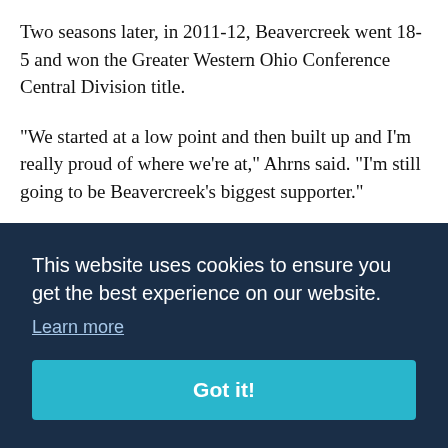Two seasons later, in 2011-12, Beavercreek went 18-5 and won the Greater Western Ohio Conference Central Division title.
"We started at a low point and then built up and I'm really proud of where we're at," Ahrns said. "I'm still going to be Beavercreek's biggest supporter."
Beavercreek is 13-7 this season and a No. 3 seed in the upcoming Division I sectional tournament. The [text partially obscured] us [text partially obscured] s
[text partially obscured] l [text partially obscured] nt throughout the year, except for 30 days after the
[Figure (screenshot): Cookie consent banner overlay with dark navy background. Text reads 'This website uses cookies to ensure you get the best experience on our website.' with a 'Learn more' underlined link and a teal 'Got it!' button.]